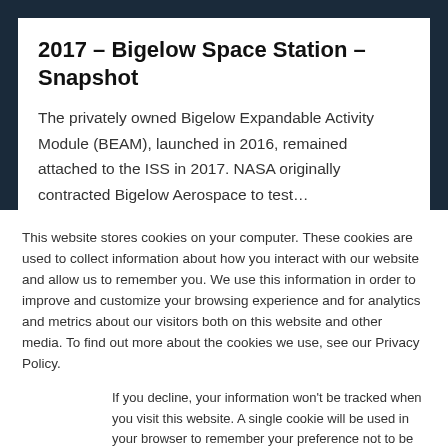2017 – Bigelow Space Station – Snapshot
The privately owned Bigelow Expandable Activity Module (BEAM), launched in 2016, remained attached to the ISS in 2017. NASA originally contracted Bigelow Aerospace to test…
This website stores cookies on your computer. These cookies are used to collect information about how you interact with our website and allow us to remember you. We use this information in order to improve and customize your browsing experience and for analytics and metrics about our visitors both on this website and other media. To find out more about the cookies we use, see our Privacy Policy.
If you decline, your information won't be tracked when you visit this website. A single cookie will be used in your browser to remember your preference not to be tracked.
Accept   Decline